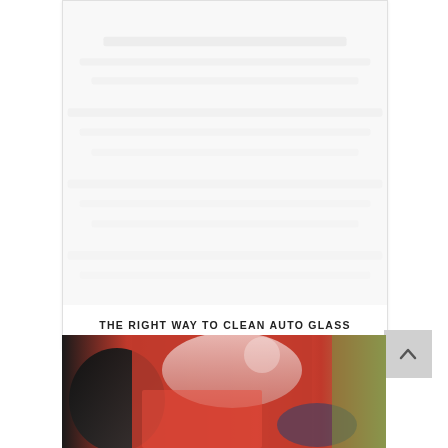[Figure (photo): Top card with a blurred/faded image placeholder area above a title text]
THE RIGHT WAY TO CLEAN AUTO GLASS
[Figure (photo): Close-up photo of a red car interior/exterior with someone cleaning the glass, showing a black side mirror and red car door panel]